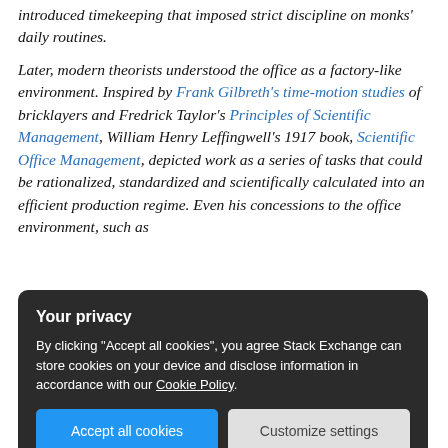introduced timekeeping that imposed strict discipline on monks' daily routines.
Later, modern theorists understood the office as a factory-like environment. Inspired by Frank Gilbreth's time-motion studies of bricklayers and Fredrick Taylor's Principles of Scientific Management, William Henry Leffingwell's 1917 book, Scientific Office Management, depicted work as a series of tasks that could be rationalized, standardized and scientifically calculated into an efficient production regime. Even his concessions to the office environment, such as
[Figure (screenshot): Cookie consent banner with dark background. Title: 'Your privacy'. Body text: 'By clicking "Accept all cookies", you agree Stack Exchange can store cookies on your device and disclose information in accordance with our Cookie Policy.' Two buttons: 'Accept all cookies' (blue) and 'Customize settings' (grey).]
majority home. The tension between employees and organizations